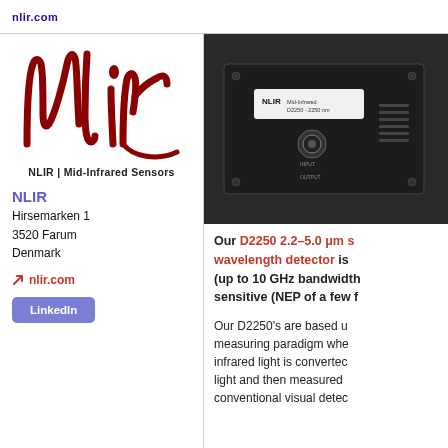nlir.com
[Figure (logo): NLIR logo in dark red handwritten script with tagline 'NLIR | Mid-Infrared Sensors']
NLIR
Hirsemarken 1
3520 Farum
Denmark
nlir.com
LinkedIn
[Figure (photo): Photo of NLIR D2250 device, a black rack-mounted unit with NLIR label and connectors on the front panel]
Our D2250 2.2–5.0 μm single-wavelength detector is (up to 10 GHz bandwidth) sensitive (NEP of a few f
Our D2250's are based upon a measuring paradigm where infrared light is converted to visible light and then measured with conventional visual detectors